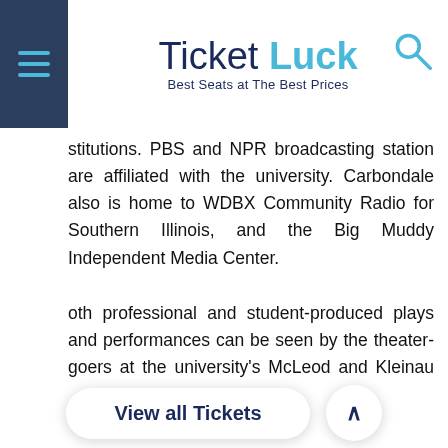Ticket Luck — Best Seats at The Best Prices
stitutions. PBS and NPR broadcasting station are affiliated with the university. Carbondale also is home to WDBX Community Radio for Southern Illinois, and the Big Muddy Independent Media Center.
oth professional and student-produced plays and performances can be seen by the theater-goers at the university's McLeod and Kleinau heatres, or they can attend off-campus productions by The Stage ompany.
arbondale consists of a variety of Christian denominations churches, wo mosques, a Jewish congregation, a Sufi community, and a Hindu ommunity. The city is known for a number of yearly festivals, including e Lights Fantastic parade in December, the Main Street Pig Out, the ig Muddy Film estival, the ardboard Boat Regatta, and the Sunset Concerts, a summer series